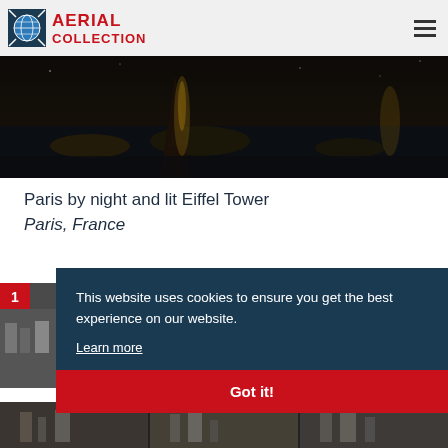AERIAL COLLECTION
[Figure (photo): Aerial night photograph of Paris with illuminated Eiffel Tower]
Paris by night and lit Eiffel Tower
Paris, France
[Figure (photo): Thumbnail of Paris street scene]
This website uses cookies to ensure you get the best experience on our website. Learn more
Got it!
[Figure (photo): Bottom thumbnail row of Paris photos]